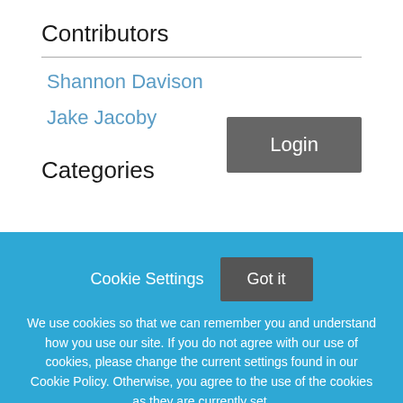Contributors
Shannon Davison
Jake Jacoby
[Figure (screenshot): Login button — dark gray rectangular button with white text reading 'Login']
Categories
Cookie Settings
[Figure (screenshot): Got it button — dark gray rectangular button with white text reading 'Got it']
We use cookies so that we can remember you and understand how you use our site. If you do not agree with our use of cookies, please change the current settings found in our Cookie Policy. Otherwise, you agree to the use of the cookies as they are currently set.